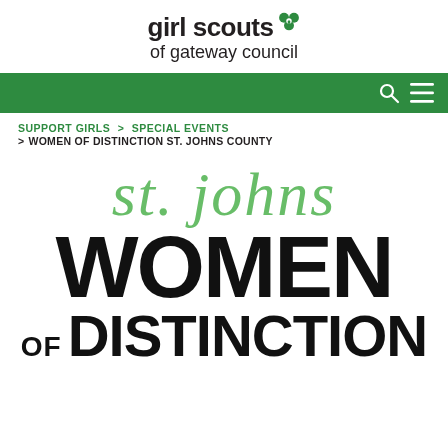[Figure (logo): Girl Scouts of Gateway Council logo with trefoil icon]
[Figure (other): Green navigation bar with search and menu icons]
SUPPORT GIRLS > SPECIAL EVENTS > WOMEN OF DISTINCTION ST. JOHNS COUNTY
[Figure (logo): St. Johns Women of Distinction event logo with green script 'st. johns' overlaid on bold black 'WOMEN OF DISTINCTION']